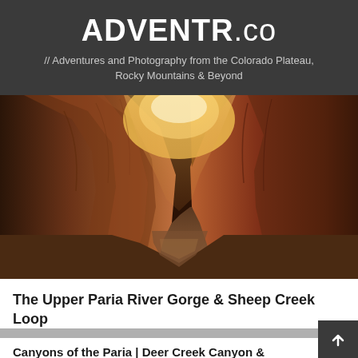ADVENTR.co
// Adventures and Photography from the Colorado Plateau, Rocky Mountains & Beyond
[Figure (photo): Narrow slot canyon with glowing orange sandstone walls and sandy floor, viewed from inside looking upward toward light opening]
The Upper Paria River Gorge & Sheep Creek Loop
Canyons of the Paria | Deer Creek Canyon &